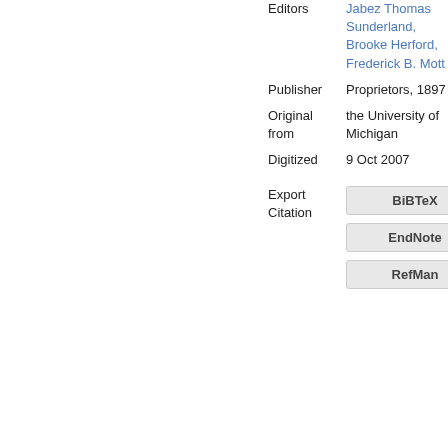| Editors | Jabez Thomas Sunderland, Brooke Herford, Frederick B. Mott |
| Publisher | Proprietors, 1897 |
| Original from | the University of Michigan |
| Digitized | 9 Oct 2007 |
| Export Citation | BiBTeX | EndNote | RefMan |